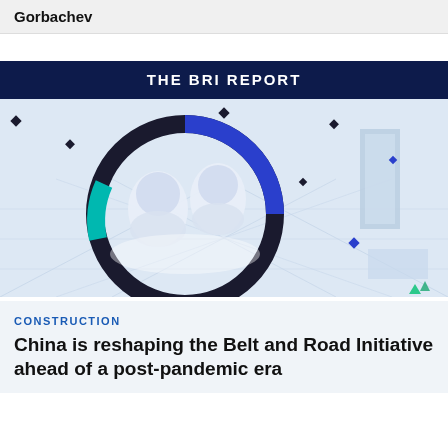Gorbachev
[Figure (illustration): THE BRI REPORT banner with dark navy background and white bold text, followed by a 3D isometric illustration showing abstract circular shapes resembling the BRI logo, with blue, teal, black, and white geometric elements on a light blue-grey grid background with diamond accent shapes]
CONSTRUCTION
China is reshaping the Belt and Road Initiative ahead of a post-pandemic era